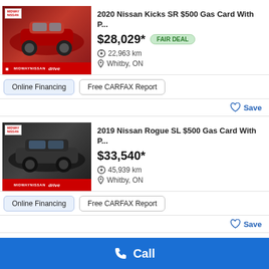[Figure (photo): 2020 Nissan Kicks SR red SUV, Midway Nissan dealer badge, Drive logo banner]
2020 Nissan Kicks SR $500 Gas Card With P...
$28,029*
FAIR DEAL
22,963 km
Whitby, ON
Online Financing
Free CARFAX Report
Save
[Figure (photo): 2019 Nissan Rogue SL dark/black SUV, Midway Nissan dealer badge, Drive logo banner]
2019 Nissan Rogue SL $500 Gas Card With P...
$33,540*
45,939 km
Whitby, ON
Online Financing
Free CARFAX Report
Save
Call